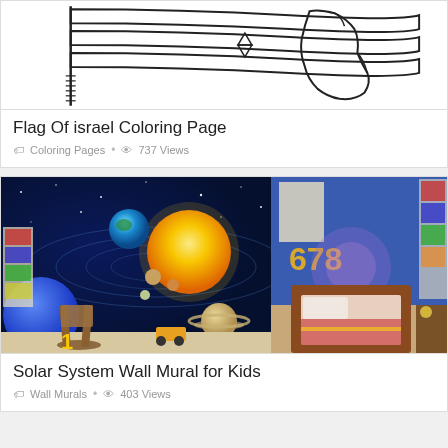[Figure (illustration): Flag of Israel coloring page outline drawing - shows flag with stripes and Star of David, with a map outline of Israel to the right]
Flag Of israel Coloring Page
Coloring Pages · 737 Views
[Figure (photo): Solar system wall mural in a kids bedroom - showing planets including Earth, Sun, Saturn and others on a dark blue space background, with a child's bed, rocking chair and toys visible]
Solar System Wall Mural for Kids
Wall Murals · 403 Views